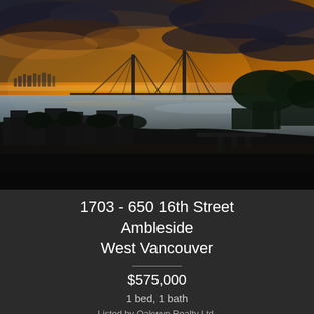[Figure (photo): Aerial sunset view of West Vancouver waterfront with Lions Gate Bridge and inlet visible, dramatic orange and purple sky with clouds, marina and residential buildings in foreground]
1703 - 650 16th Street
Ambleside
West Vancouver
$575,000
1 bed, 1 bath
Listed by Oakwyn Realty Ltd.